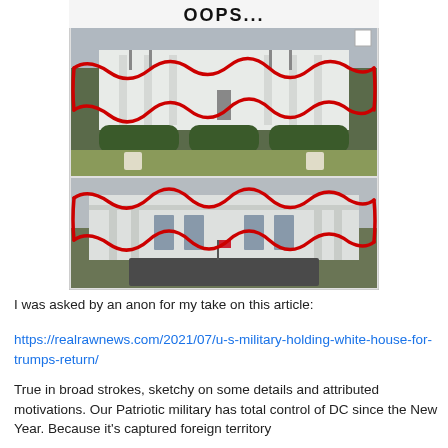[Figure (photo): Composite image with text 'OOPS...' at top in bold black font, showing two photos of the White House Rose Garden and exterior, overlaid with red squiggly annotation lines highlighting building features]
I was asked by an anon for my take on this article:
https://realrawnews.com/2021/07/u-s-military-holding-white-house-for-trumps-return/
True in broad strokes, sketchy on some details and attributed motivations. Our Patriotic military has total control of DC since the New Year. Because it's captured foreign territory